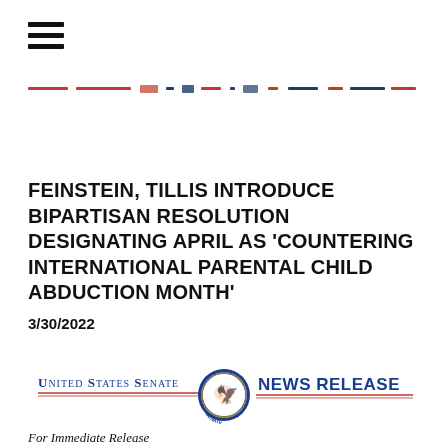[Figure (other): Hamburger menu icon (three horizontal lines)]
[Figure (other): Navigation bar with red and blue dashed/partial text elements, partially obscured]
FEINSTEIN, TILLIS INTRODUCE BIPARTISAN RESOLUTION DESIGNATING APRIL AS 'COUNTERING INTERNATIONAL PARENTAL CHILD ABDUCTION MONTH'
3/30/2022
[Figure (logo): United States Senate News Release banner with Senate seal in center, 'UNITED STATES SENATE' in blue on left with red underline, 'NEWS RELEASE' in dark blue bold on right]
For Immediate Release